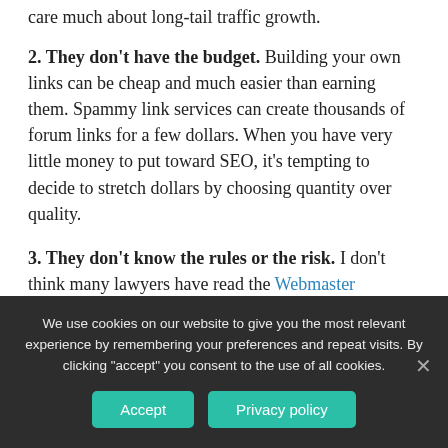care much about long-tail traffic growth.
2. They don't have the budget. Building your own links can be cheap and much easier than earning them. Spammy link services can create thousands of forum links for a few dollars. When you have very little money to put toward SEO, it's tempting to decide to stretch dollars by choosing quantity over quality.
3. They don't know the rules or the risk. I don't think many lawyers have read the Webmaster Guidelines. Even those who have might not know the rules constantly change and that Google has become much more consistent in penalizing sites
We use cookies on our website to give you the most relevant experience by remembering your preferences and repeat visits. By clicking “accept” you consent to the use of all cookies.